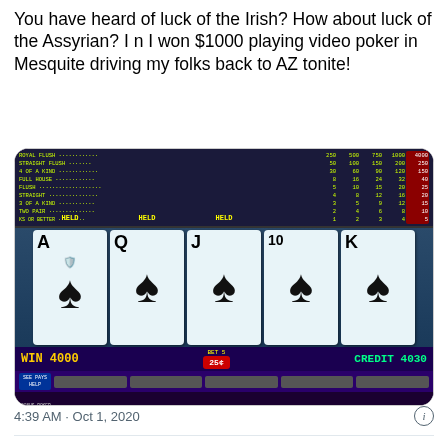You have heard of luck of the Irish? How about luck of the Assyrian? I n I won $1000 playing video poker in Mesquite driving my folks back to AZ tonite!
[Figure (photo): Photo of a video poker machine screen showing a Royal Flush (A, Q, J, 10, K of spades all held). Screen shows WIN 4000, BET 5, CREDIT 4030. Machine is a Bonus Poker 25 cent machine.]
4:39 AM · Oct 1, 2020